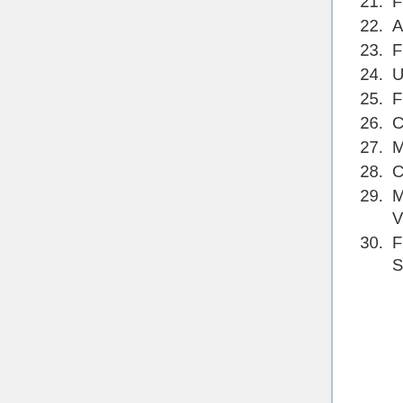21. Fixed Arabic of Exodus 30:1
22. Added psalies menu to Index
23. Fixed Arabic verse in Songs 8:5
24. Updated English conclusion response for Great Fast weekends
25. Fixed response for St. Macarius in the Hymn of the Intercessions
26. Corrected Matins gospel ending for Procession of the Cross
27. Minor change to Great Fast weekday concluding canon
28. Corrected Matins gospel ending for Procession of the Cross
29. Major changes to Standard Adam Sunday Psali and Psali Watos for the Virgin Mary
30. Fixed departure date of St. Malatius the Confessor in Arabic text of Synaxarion on 18th of